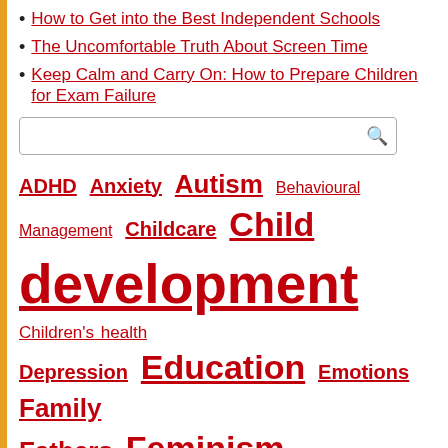How to Get into the Best Independent Schools
The Uncomfortable Truth About Screen Time
Keep Calm and Carry On: How to Prepare Children for Exam Failure
[Figure (other): Search input box with magnifying glass icon]
ADHD Anxiety Autism Behavioural Management Childcare Child development Children's health Depression Education Emotions Family Fathers Feminism Friendships Gender stereotypes Genetics Holidays Kids' Activities Medication Motherhood Parenting strategies Pregnancy racial stereotypes Science Sleep Talking to children